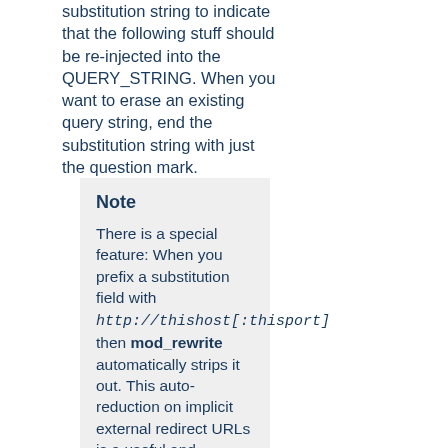substitution string to indicate that the following stuff should be re-injected into the QUERY_STRING. When you want to erase an existing query string, end the substitution string with just the question mark.
Note
There is a special feature: When you prefix a substitution field with http://thishost[:thisport] then mod_rewrite automatically strips it out. This auto-reduction on implicit external redirect URLs is a useful and important feature when